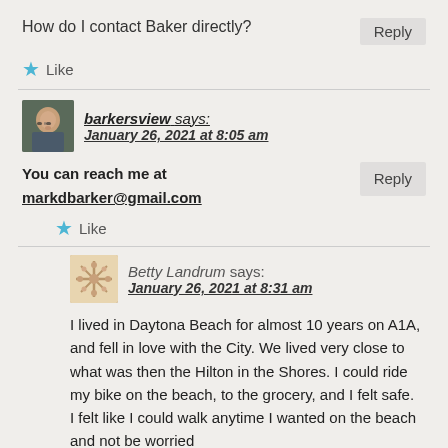How do I contact Baker directly?
Reply
★ Like
barkersview says: January 26, 2021 at 8:05 am
You can reach me at markdbarker@gmail.com
Reply
★ Like
Betty Landrum says: January 26, 2021 at 8:31 am
I lived in Daytona Beach for almost 10 years on A1A, and fell in love with the City. We lived very close to what was then the Hilton in the Shores. I could ride my bike on the beach, to the grocery, and I felt safe. I felt like I could walk anytime I wanted on the beach and not be worried